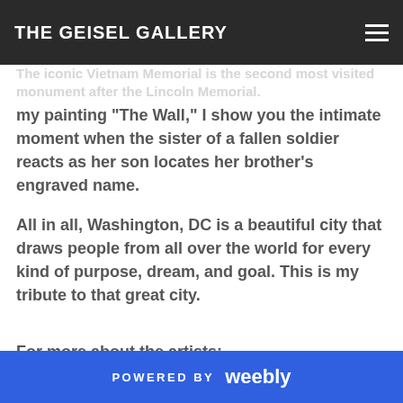THE GEISEL GALLERY
The iconic Vietnam Memorial is the second most visited monument after the Lincoln Memorial. My painting "The Wall," I show you the intimate moment when the sister of a fallen soldier reacts as her son locates her brother's engraved name.
All in all, Washington, DC is a beautiful city that draws people from all over the world for every kind of purpose, dream, and goal. This is my tribute to that great city.
For more about the artists:
Phyllis Ely: https://www.phyllisbryceely.com
POWERED BY weebly